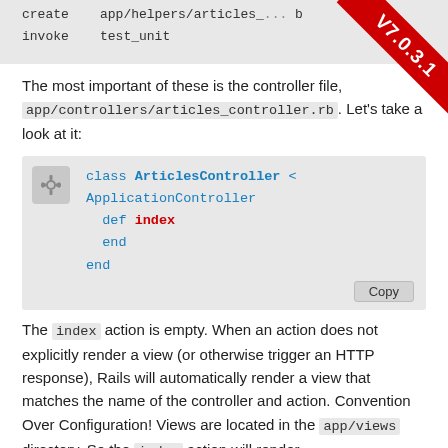[Figure (screenshot): Terminal/console code block showing 'create app/helpers/articles_... b' and 'invoke test_unit' with a red version badge 'V7.0.3.1' in top-right corner]
The most important of these is the controller file, app/controllers/articles_controller.rb. Let's take a look at it:
[Figure (screenshot): Code block with gear icon showing Ruby code: class ArticlesController < ApplicationController; def index; end; end. Has a Copy button.]
The index action is empty. When an action does not explicitly render a view (or otherwise trigger an HTTP response), Rails will automatically render a view that matches the name of the controller and action. Convention Over Configuration! Views are located in the app/views directory. So the index action will render app/views/articles/index.html.erb by default.